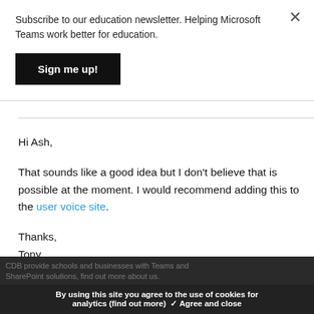Subscribe to our education newsletter. Helping Microsoft Teams work better for education.
Sign me up!
Hi Ash,
That sounds like a good idea but I don't believe that is possible at the moment. I would recommend adding this to the user voice site.
Thanks,
Tony
CDB provide schools and businesses with Teams and SharePoint solutions, find out more about us.
By using this site you agree to the use of cookies for analytics (find out more) ✓ Agree and close
6) Rory Retzlaff April 18 2021 4:31:5 pm